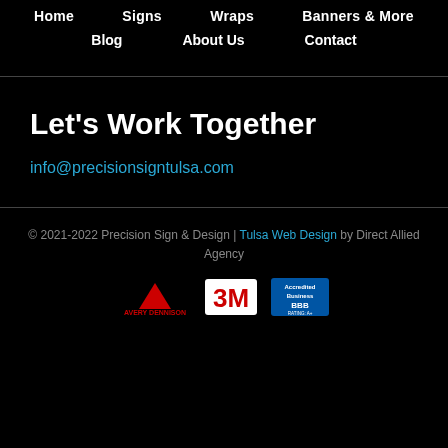Home  Signs  Wraps  Banners & More  Blog  About Us  Contact
Let's Work Together
info@precisionsigntulsa.com
© 2021-2022 Precision Sign & Design | Tulsa Web Design by Direct Allied Agency
[Figure (logo): Three partner logos: Avery Dennison (red triangle logo with red text), 3M (red 3M logo on white), BBB Accredited Business badge]